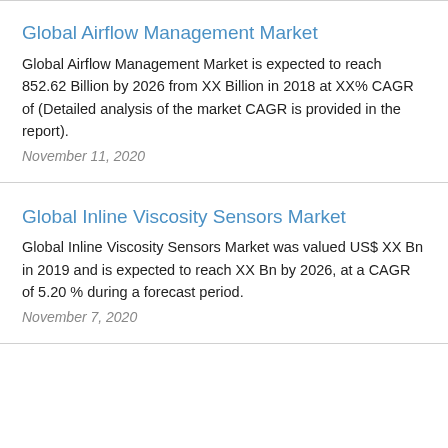Global Airflow Management Market
Global Airflow Management Market is expected to reach 852.62 Billion by 2026 from XX Billion in 2018 at XX% CAGR of (Detailed analysis of the market CAGR is provided in the report).
November 11, 2020
Global Inline Viscosity Sensors Market
Global Inline Viscosity Sensors Market was valued US$ XX Bn in 2019 and is expected to reach XX Bn by 2026, at a CAGR of 5.20 % during a forecast period.
November 7, 2020